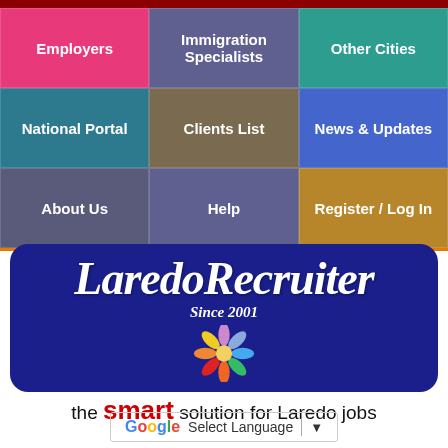[Figure (screenshot): Navigation grid with 9 colored cells: Employers (pink), Immigration Specialists (purple), Other Cities (teal), National Portal (teal), Clients List (brown), News & Updates (blue), About Us (teal), Help (slate/purple), Register/Log In (gold)]
[Figure (logo): LaredoRecruiter logo on dark blue rounded rectangle background, with 'Since 2001' subtitle and colorful flower/people icon]
the smart solution for Laredo jobs
[Figure (screenshot): Google Translate Select Language dropdown widget]